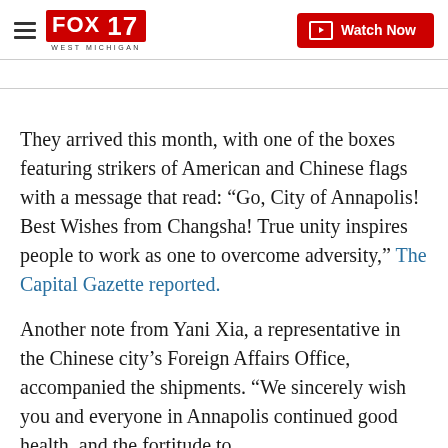FOX 17 WEST MICHIGAN | Watch Now
They arrived this month, with one of the boxes featuring strikers of American and Chinese flags with a message that read: “Go, City of Annapolis! Best Wishes from Changsha! True unity inspires people to work as one to overcome adversity,” The Capital Gazette reported.
Another note from Yani Xia, a representative in the Chinese city’s Foreign Affairs Office, accompanied the shipments. “We sincerely wish you and everyone in Annapolis continued good health, and the fortitude to